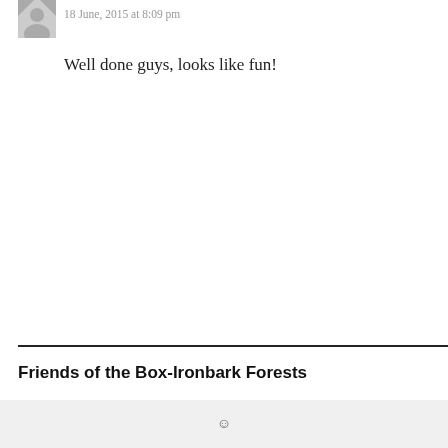18 June, 2015 at 8:09 pm
Well done guys, looks like fun!
Friends of the Box-Ironbark Forests
☺